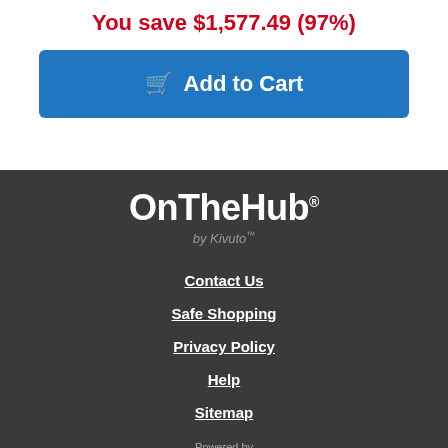You save $1,577.49 (97%)
Add to Cart
[Figure (logo): OnTheHub by Kivuto logo - white text on dark background]
Contact Us
Safe Shopping
Privacy Policy
Help
Sitemap
[Figure (logo): Powered by Kivuto logo]
[Figure (logo): Secured by RapidSSL badge with lock icon]